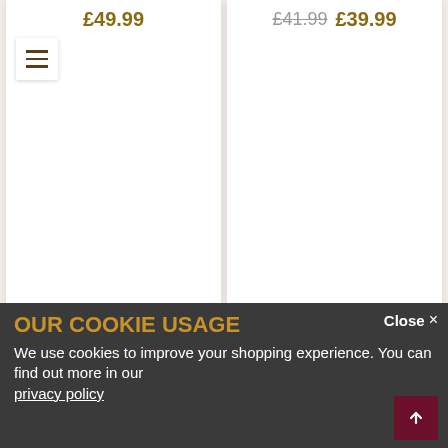£49.99
£41.99  £39.99
Available Tomorrow. 31 Aug
Carnival Gift-Bag
£49.99
Available Tomorrow. 31 Aug
Summer Pastels
£26.99
OUR COOKIE USAGE
We use cookies to improve your shopping experience. You can find out more in our privacy policy
Close ×
↑